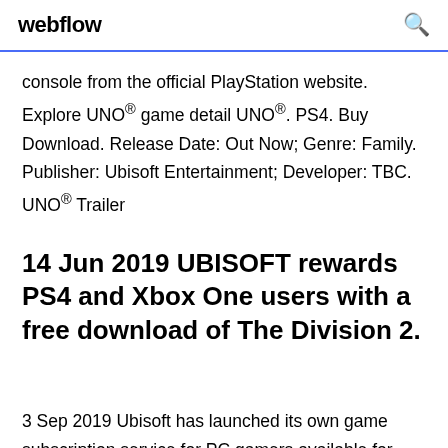webflow
console from the official PlayStation website. Explore UNO® game detail UNO®. PS4. Buy Download. Release Date: Out Now; Genre: Family. Publisher: Ubisoft Entertainment; Developer: TBC. UNO® Trailer
14 Jun 2019 UBISOFT rewards PS4 and Xbox One users with a free download of The Division 2.
3 Sep 2019 Ubisoft has launched its own game subscription service for PC gamers available for free right now, more than 100 PC games to